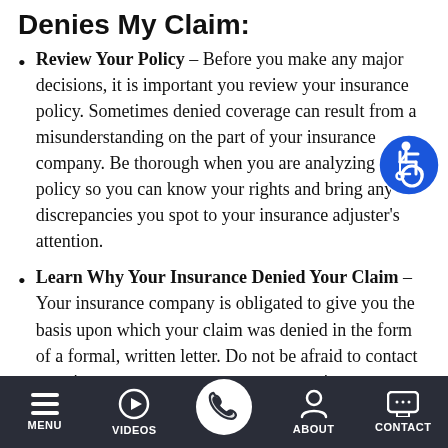Denies My Claim:
Review Your Policy – Before you make any major decisions, it is important you review your insurance policy. Sometimes denied coverage can result from a misunderstanding on the part of your insurance company. Be thorough when you are analyzing your policy so you can know your rights and bring any discrepancies you spot to your insurance adjuster's attention.
Learn Why Your Insurance Denied Your Claim – Your insurance company is obligated to give you the basis upon which your claim was denied in the form of a formal, written letter. Do not be afraid to contact your insurance company to request a written explanation regarding a denial.
[Figure (illustration): Accessibility icon — blue circle with white wheelchair user figure]
MENU | VIDEOS | (phone) | ABOUT | CONTACT